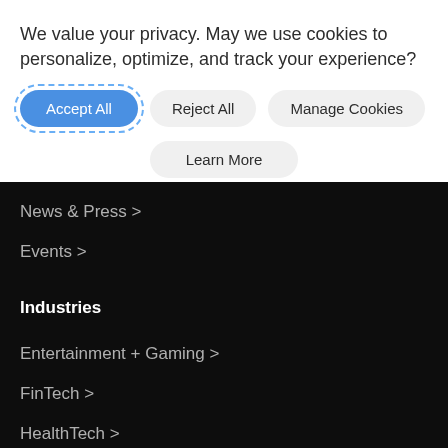We value your privacy. May we use cookies to personalize, optimize, and track your experience?
Accept All | Reject All | Manage Cookies | Learn More
News & Press >
Events >
Industries
Entertainment + Gaming >
FinTech >
HealthTech >